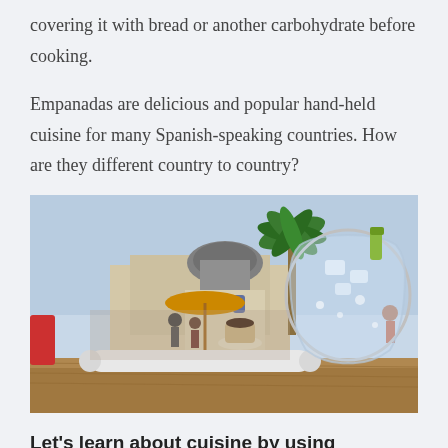covering it with bread or another carbohydrate before cooking.
Empanadas are delicious and popular hand-held cuisine for many Spanish-speaking countries. How are they different country to country?
[Figure (photo): Outdoor cafe scene in a Spanish-speaking country with a palm tree, a church dome in the background, umbrella, people sitting at tables, a glass of water with ice and a lime wedge in the foreground on a wooden table.]
Let's learn about cuisine by using gentilicios.